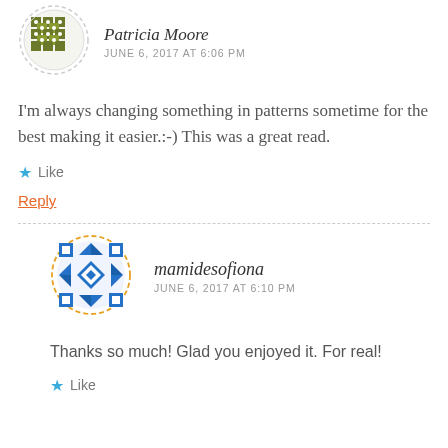[Figure (illustration): Avatar icon for Patricia Moore — olive/dark yellow geometric quilt pattern in a dashed circle]
Patricia Moore
JUNE 6, 2017 AT 6:06 PM
I'm always changing something in patterns sometime for the best making it easier.:-) This was a great read.
★ Like
Reply
[Figure (illustration): Avatar icon for mamidesofiona — blue and white geometric diamond quilt pattern in a dashed orange circle]
mamidesofiona
JUNE 6, 2017 AT 6:10 PM
Thanks so much! Glad you enjoyed it. For real!
★ Like